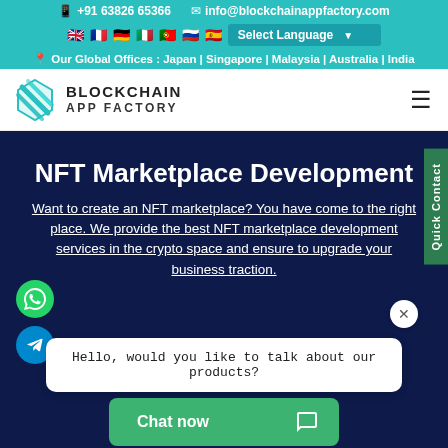📱 +91 63826 65366   ✉ info@blockchainappfactory.com
🇬🇧 🇫🇷 🇩🇪 🇮🇹 🇵🇹 🇷🇺 🇪🇸  Select Language
📍 Our Global Offices : Japan | Singapore | Malaysia | Australia | India
[Figure (logo): Blockchain App Factory logo with teal diamond/chevron icon]
NFT Marketplace Development
Want to create an NFT marketplace? You have come to the right place. We provide the best NFT marketplace development services in the crypto space and ensure to upgrade your business traction.
Hello, would you like to talk about our products?
Chat now